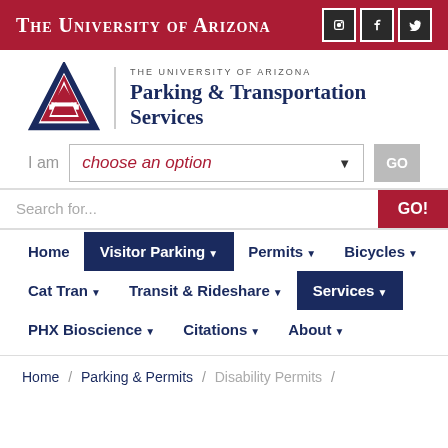The University of Arizona
[Figure (logo): University of Arizona Parking & Transportation Services logo with block letter A]
THE UNIVERSITY OF ARIZONA Parking & Transportation Services
I am  choose an option  GO
Search for...  GO!
Home
Visitor Parking ▾
Permits ▾
Bicycles ▾
Cat Tran ▾
Transit & Rideshare ▾
Services ▾
PHX Bioscience ▾
Citations ▾
About ▾
Home / Parking & Permits / Disability Permits /